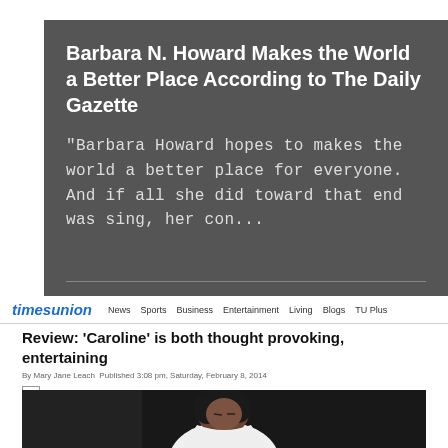Barbara N. Howard Makes the World a Better Place According to The Daily Gazette
"Barbara Howard hopes to makes the world a better place for everyone. And if all she did toward that end was sing, her con...
timesunion  News  Sports  Business  Entertainment  Living  Blogs  TU Plus
Review: 'Caroline' is both thought provoking, entertaining
By Mary Jane Leach  Published 3:08 pm, Saturday, February 8, 2014
[Figure (photo): A woman with dark curly hair wearing a white shirt, looking downward, photographed against a dark background.]